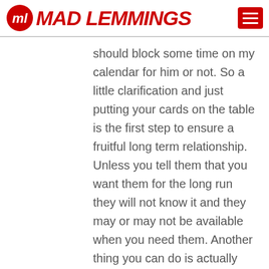Mad Lemmings
should block some time on my calendar for him or not. So a little clarification and just putting your cards on the table is the first step to ensure a fruitful long term relationship. Unless you tell them that you want them for the long run they will not know it and they may or may not be available when you need them. Another thing you can do is actually those are two things. One is to regularly reevaluate their work and pay rate. When I say regularly. Of course it depends on the type of project and the work quality. It will be one thing if that person works for you 5